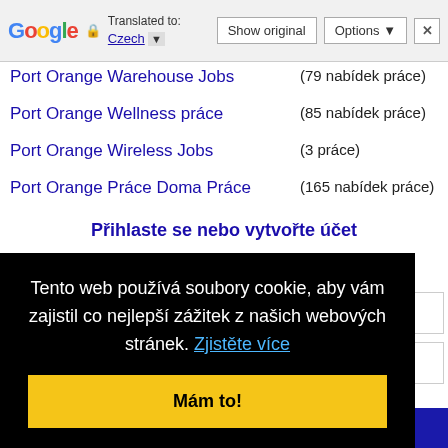[Figure (screenshot): Google Translate toolbar showing 'Translated to: Czech' with Show original, Options, and close buttons]
Port Orange Warehouse Jobs — (79 nabídek práce)
Port Orange Wellness práce — (85 nabídek práce)
Port Orange Wireless Jobs — (3 práce)
Port Orange Práce Doma Práce — (165 nabídek práce)
Přihlaste se nebo vytvořte účet
Tento web používá soubory cookie, aby vám zajistil co nejlepší zážitek z našich webových stránek. Zjistěte více
Mám to!